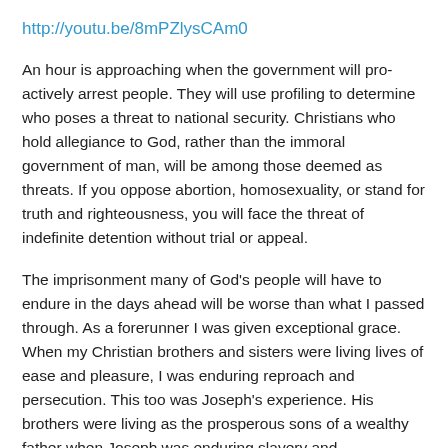http://youtu.be/8mPZlysCAm0
An hour is approaching when the government will pro-actively arrest people. They will use profiling to determine who poses a threat to national security. Christians who hold allegiance to God, rather than the immoral government of man, will be among those deemed as threats. If you oppose abortion, homosexuality, or stand for truth and righteousness, you will face the threat of indefinite detention without trial or appeal.
The imprisonment many of God's people will have to endure in the days ahead will be worse than what I passed through. As a forerunner I was given exceptional grace. When my Christian brothers and sisters were living lives of ease and pleasure, I was enduring reproach and persecution. This too was Joseph's experience. His brothers were living as the prosperous sons of a wealthy father when Joseph was enduring slavery and imprisonment. Eleven sons of Jacob had great liberty and were following the course their soul dictated while Joseph was confined and restricted. Yet the day came for them to endure the same. They were enslaved